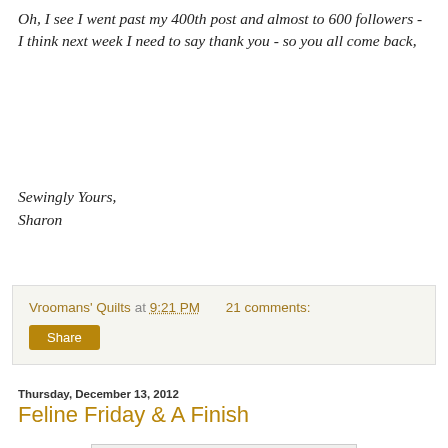Oh, I see I went past my 400th post and almost to 600 followers - I think next week I need to say thank you - so you all come back,
Sewingly Yours,
Sharon
Vroomans' Quilts at 9:21 PM   21 comments:
Share
Thursday, December 13, 2012
Feline Friday & A Finish
[Figure (photo): A gold tinsel Christmas tree decorated with gold and silver ornament balls, placed on a wooden surface background]